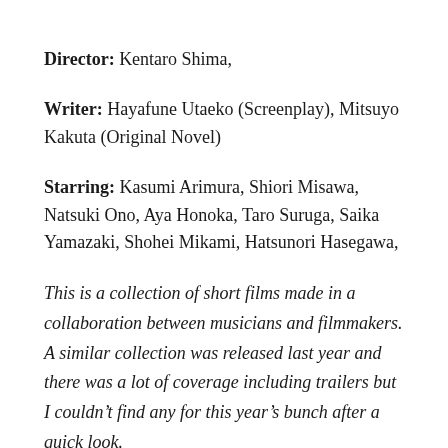Director: Kentaro Shima,
Writer: Hayafune Utaeko (Screenplay), Mitsuyo Kakuta (Original Novel)
Starring: Kasumi Arimura, Shiori Misawa, Natsuki Ono, Aya Honoka, Taro Suruga, Saika Yamazaki, Shohei Mikami, Hatsunori Hasegawa,
This is a collection of short films made in a collaboration between musicians and filmmakers. A similar collection was released last year and there was a lot of coverage including trailers but I couldn’t find any for this year’s bunch after a quick look.